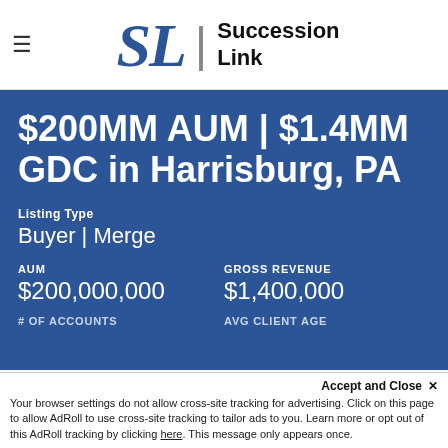SL | Succession Link
$200MM AUM | $1.4MM GDC in Harrisburg, PA
Listing Type
Buyer | Merge
AUM $200,000,000
GROSS REVENUE $1,400,000
# OF ACCOUNTS
AVG CLIENT AGE
Accept and Close ✕ Your browser settings do not allow cross-site tracking for advertising. Click on this page to allow AdRoll to use cross-site tracking to tailor ads to you. Learn more or opt out of this AdRoll tracking by clicking here. This message only appears once.